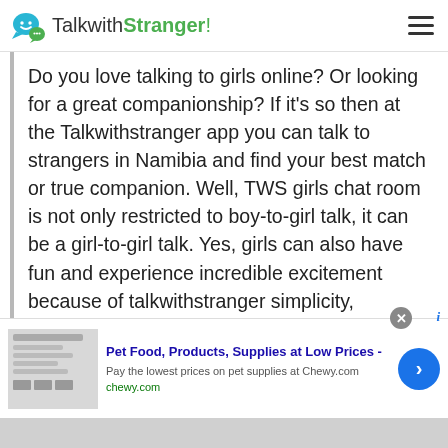TalkwithStranger!
Do you love talking to girls online? Or looking for a great companionship? If it's so then at the Talkwithstranger app you can talk to strangers in Namibia and find your best match or true companion. Well, TWS girls chat room is not only restricted to boy-to-girl talk, it can be a girl-to-girl talk. Yes, girls can also have fun and experience incredible excitement because of talkwithstranger simplicity, authenticity and reliability.

So, if you haven't experienced girls chat at TWS
[Figure (screenshot): Advertisement banner for Chewy.com pet supplies with close button and info icon. Ad shows product image placeholder, title 'Pet Food, Products, Supplies at Low Prices -', description 'Pay the lowest prices on pet supplies at Chewy.com', URL 'chewy.com', and a blue circular CTA button with right arrow.]